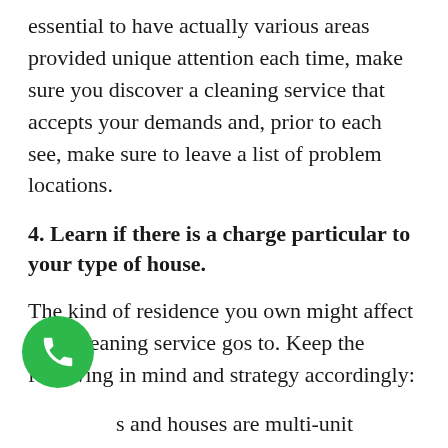essential to have actually various areas provided unique attention each time, make sure you discover a cleaning service that accepts your demands and, prior to each see, make sure to leave a list of problem locations.
4. Learn if there is a charge particular to your type of house.
The kind of residence you own might affect your cleaning service gos to. Keep the following in mind and strategy accordingly:
Cs and houses are multi-unit houses. Your service provider may require unique clearance